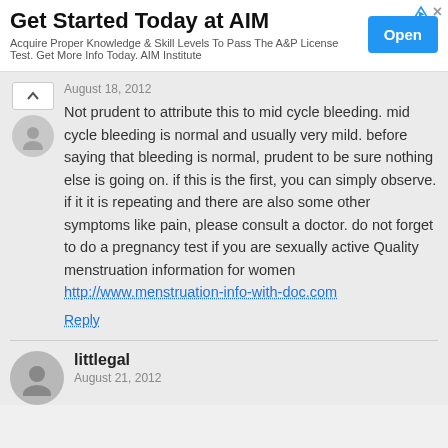[Figure (other): Advertisement banner: Get Started Today at AIM. Acquire Proper Knowledge & Skill Levels To Pass The A&P License Test. Get More Info Today. AIM Institute. Open button.]
August 18, 2012
Not prudent to attribute this to mid cycle bleeding. mid cycle bleeding is normal and usually very mild. before saying that bleeding is normal, prudent to be sure nothing else is going on. if this is the first, you can simply observe. if it it is repeating and there are also some other symptoms like pain, please consult a doctor. do not forget to do a pregnancy test if you are sexually active Quality menstruation information for women http://www.menstruation-info-with-doc.com
Reply
littlegal
August 21, 2012